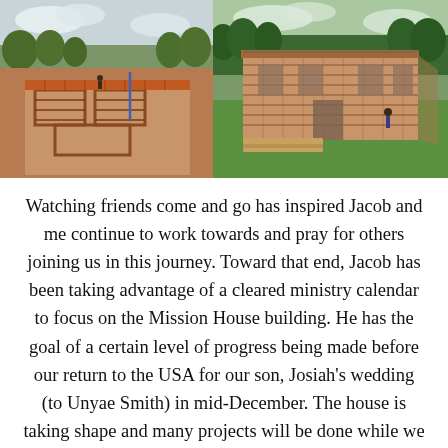[Figure (photo): Two side-by-side construction photos. Left photo shows an early stage of a building foundation/slab with brick footings visible, surrounded by red soil, trees in background. Right photo shows a later stage with brick walls raised, forming a rectangular structure with green grass around it and trees in background.]
Watching friends come and go has inspired Jacob and me continue to work towards and pray for others joining us in this journey. Toward that end, Jacob has been taking advantage of a cleared ministry calendar to focus on the Mission House building. He has the goal of a certain level of progress being made before our return to the USA for our son, Josiah's wedding (to Unyae Smith) in mid-December. The house is taking shape and many projects will be done while we are away by our skilled and trustworthy Sub-Contractor, Pastor Joachim, who has proved himself well on this building...